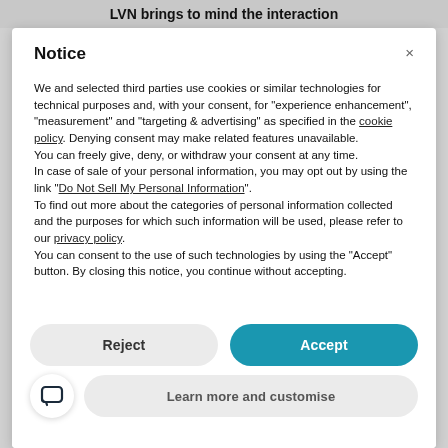LVN brings to mind the interaction
Notice
We and selected third parties use cookies or similar technologies for technical purposes and, with your consent, for “experience enhancement”, “measurement” and “targeting & advertising” as specified in the cookie policy. Denying consent may make related features unavailable.
You can freely give, deny, or withdraw your consent at any time.
In case of sale of your personal information, you may opt out by using the link “Do Not Sell My Personal Information”.
To find out more about the categories of personal information collected and the purposes for which such information will be used, please refer to our privacy policy.
You can consent to the use of such technologies by using the “Accept” button. By closing this notice, you continue without accepting.
Reject
Accept
Learn more and customise